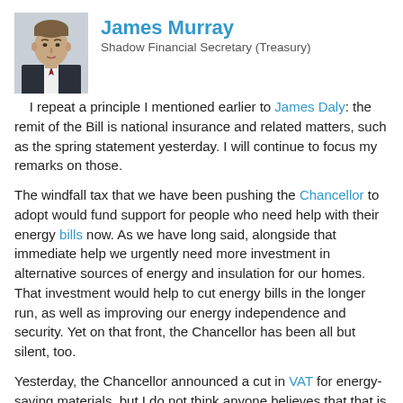[Figure (photo): Headshot photo of James Murray in a dark suit and tie]
James Murray
Shadow Financial Secretary (Treasury)
I repeat a principle I mentioned earlier to James Daly: the remit of the Bill is national insurance and related matters, such as the spring statement yesterday. I will continue to focus my remarks on those.
The windfall tax that we have been pushing the Chancellor to adopt would fund support for people who need help with their energy bills now. As we have long said, alongside that immediate help we urgently need more investment in alternative sources of energy and insulation for our homes. That investment would help to cut energy bills in the longer run, as well as improving our energy independence and security. Yet on that front, the Chancellor has been all but silent, too.
Yesterday, the Chancellor announced a cut in VAT for energy-saving materials, but I do not think anyone believes that that is anywhere near enough to help the majority of families upgrade their homes. Our pledge, by contrast, is to invest £6 billion each year for 10 years to upgrade 19 million homes. That would cut energy bills by up to £400 a year while cutting gas imports by 15% too. That is the kind of transformational programme that our country needs.